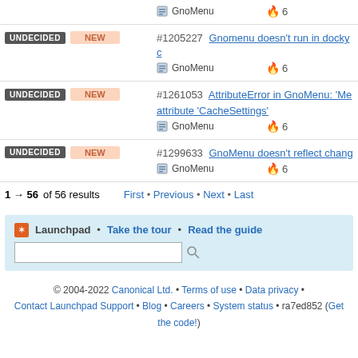UNDECIDED NEW #1205227 Gnomenu doesn't run in docky c... GnoMenu 🔥 6
UNDECIDED NEW #1261053 AttributeError in GnoMenu: 'Me... attribute 'CacheSettings' GnoMenu 🔥 6
UNDECIDED NEW #1299633 GnoMenu doesn't reflect chang... GnoMenu 🔥 6
1 → 56 of 56 results   First • Previous • Next • Last
Launchpad • Take the tour • Read the guide [search box]
© 2004-2022 Canonical Ltd. • Terms of use • Data privacy • Contact Launchpad Support • Blog • Careers • System status • ra7ed852 (Get the code!)